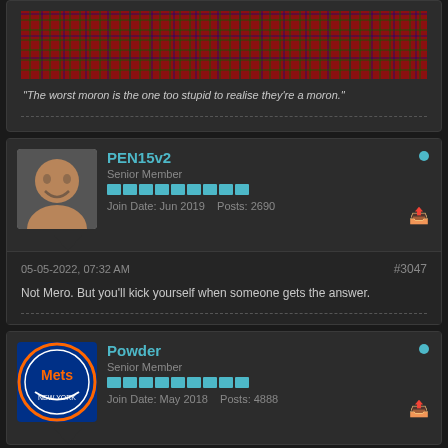[Figure (photo): Top portion of a forum post card showing a plaid/tartan background photo (partial, cropped at top)]
"The worst moron is the one too stupid to realise they're a moron."
PEN15v2
Senior Member
Join Date: Jun 2019  Posts: 2690
05-05-2022, 07:32 AM
#3047
Not Mero. But you'll kick yourself when someone gets the answer.
Powder
Senior Member
Join Date: May 2018  Posts: 4888